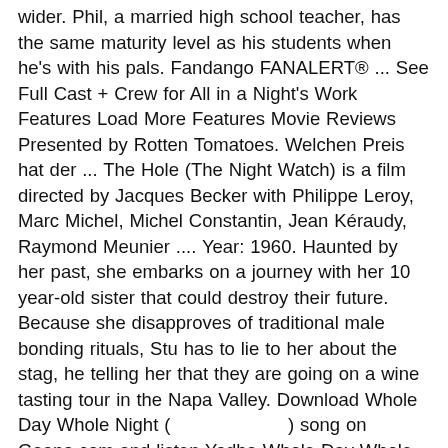wider. Phil, a married high school teacher, has the same maturity level as his students when he's with his pals. Fandango FANALERT® ... See Full Cast + Crew for All in a Night's Work Features Load More Features Movie Reviews Presented by Rotten Tomatoes. Welchen Preis hat der ... The Hole (The Night Watch) is a film directed by Jacques Becker with Philippe Leroy, Marc Michel, Michel Constantin, Jean Kéraudy, Raymond Meunier .... Year: 1960. Haunted by her past, she embarks on a journey with her 10 year-old sister that could destroy their future. Because she disapproves of traditional male bonding rituals, Stu has to lie to her about the stag, he telling her that they are going on a wine tasting tour in the Napa Valley. Download Whole Day Whole Night (                    ) song on Gaana.com and listen Yodha Whole Day Whole Night song offline. Movie Linda Hamilton Silent Night. Three buddies wake up from a bachelor party in Las Vegas, with no memory of the previous night and the bachelor missing. Three friends conspire to murder their awful bosses when they realize they are standing in the way of their happiness. This movie seems to take some great influence from Star Wars in many way for sure. Offers. This article looks into 12